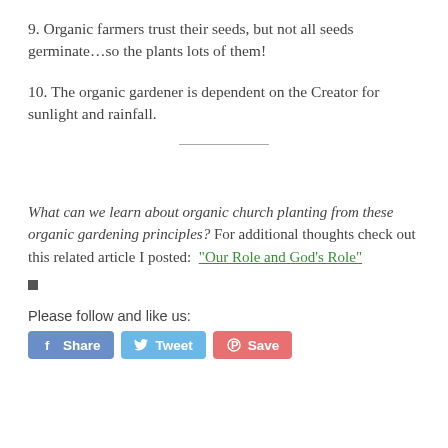9. Organic farmers trust their seeds, but not all seeds germinate…so the plants lots of them!
10. The organic gardener is dependent on the Creator for sunlight and rainfall.
What can we learn about organic church planting from these organic gardening principles? For additional thoughts check out this related article I posted: “Our Role and God’s Role”
Please follow and like us: